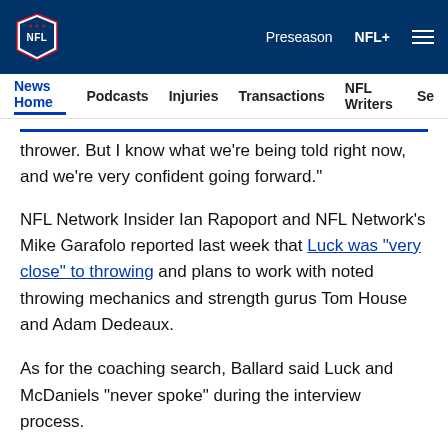NFL | Preseason | NFL+
News Home | Podcasts | Injuries | Transactions | NFL Writers | Se
thrower. But I know what we're being told right now, and we're very confident going forward."
NFL Network Insider Ian Rapoport and NFL Network's Mike Garafolo reported last week that Luck was "very close" to throwing and plans to work with noted throwing mechanics and strength gurus Tom House and Adam Dedeaux.
As for the coaching search, Ballard said Luck and McDaniels "never spoke" during the interview process.